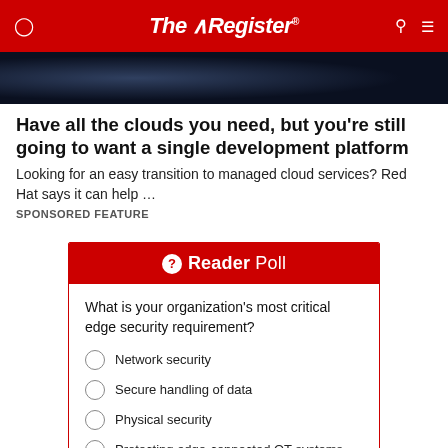The Register
[Figure (photo): Dark blue hero image with cloud/tech imagery]
Have all the clouds you need, but you're still going to want a single development platform
Looking for an easy transition to managed cloud services? Red Hat says it can help …
SPONSORED FEATURE
[Figure (other): Reader Poll widget with question: What is your organization's most critical edge security requirement? Options: Network security, Secure handling of data, Physical security, Protecting edge-connected OT systems]